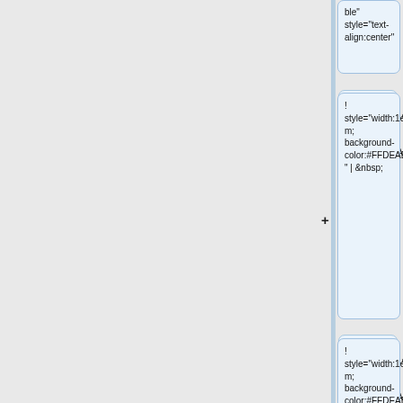ble" style="text-align:center"
! style="width:1em; background-color:#FFDEAD" | &nbsp;
! style="width:1em; background-color:#FFDEAD" | [[Labial]]
! style="width:1em; background-color:#FFDEAD" | [[Dental]]
! style="width:1em; background-color:#FFDEAD" | [[...